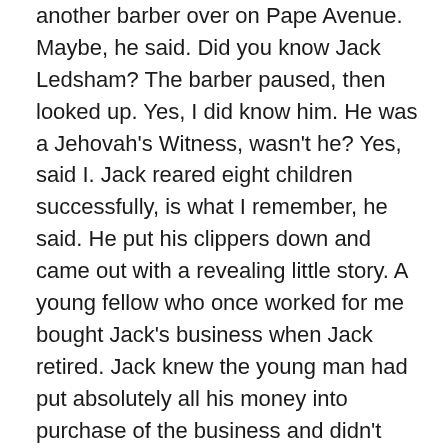another barber over on Pape Avenue. Maybe, he said. Did you know Jack Ledsham? The barber paused, then looked up. Yes, I did know him. He was a Jehovah's Witness, wasn't he? Yes, said I. Jack reared eight children successfully, is what I remember, he said. He put his clippers down and came out with a revealing little story. A young fellow who once worked for me bought Jack's business when Jack retired. Jack knew the young man had put absolutely all his money into purchase of the business and didn't even have coins in his pocket at that juncture. Jack on his last day in his barbershop walked into the back of it and after a minute returned carrying a pouch full of coins. Here, he said. Take this and pay me back when you can. Jack then left the shop and never looked back. Such a fine man in many ways. His surviving very elderly children carry great love for him and warm